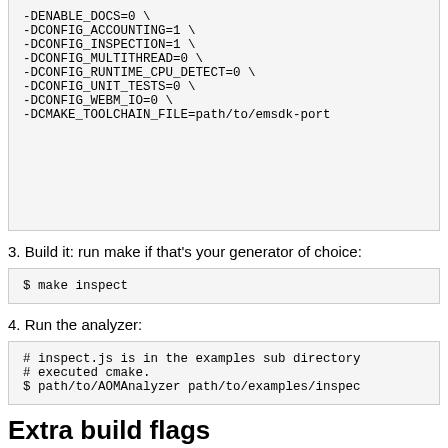-DENABLE_DOCS=0 \
-DCONFIG_ACCOUNTING=1 \
-DCONFIG_INSPECTION=1 \
-DCONFIG_MULTITHREAD=0 \
-DCONFIG_RUNTIME_CPU_DETECT=0 \
-DCONFIG_UNIT_TESTS=0 \
-DCONFIG_WEBM_IO=0 \
-DCMAKE_TOOLCHAIN_FILE=path/to/emsdk-port...
3. Build it: run make if that's your generator of choice:
$ make inspect
4. Run the analyzer:
# inspect.js is in the examples sub directory
# executed cmake.
$ path/to/AOMAnalyzer path/to/examples/inspect...
Extra build flags